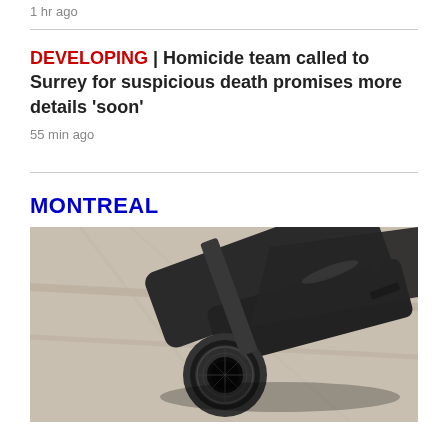1 hr ago
DEVELOPING | Homicide team called to Surrey for suspicious death promises more details 'soon'
55 min ago
MONTREAL
[Figure (photo): Close-up photograph of the barrel and muzzle of a dark handgun resting on a light marble surface, viewed from the front at an angle.]